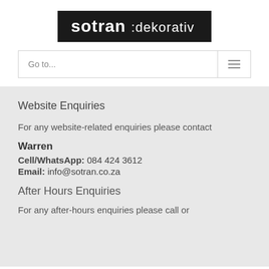[Figure (logo): Sotran Dekorativ logo — white text on black background reading 'sotran :dekorativ']
Go to...
Website Enquiries
For any website-related enquiries please contact
Warren
Cell/WhatsApp: 084 424 3612
Email: info@sotran.co.za
After Hours Enquiries
For any after-hours enquiries please call or